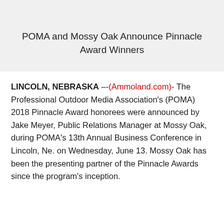POMA and Mossy Oak Announce Pinnacle Award Winners
LINCOLN, NEBRASKA –-(Ammoland.com)- The Professional Outdoor Media Association's (POMA) 2018 Pinnacle Award honorees were announced by Jake Meyer, Public Relations Manager at Mossy Oak, during POMA's 13th Annual Business Conference in Lincoln, Ne. on Wednesday, June 13. Mossy Oak has been the presenting partner of the Pinnacle Awards since the program's inception.